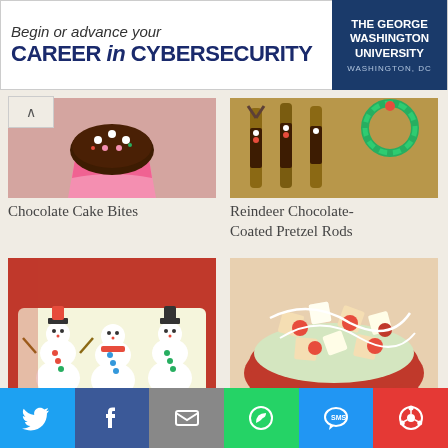[Figure (infographic): Advertisement banner: 'Begin or advance your CAREER in CYBERSECURITY' with The George Washington University logo]
[Figure (photo): Chocolate cupcake with pink liner and white candy decorations]
Chocolate Cake Bites
[Figure (photo): Reindeer chocolate-coated pretzel rods with colorful candy decorations]
Reindeer Chocolate-Coated Pretzel Rods
[Figure (photo): Sugar cookie snowmen decorated with frosting and candy buttons on a tray]
Sugar Cookie Snowmen
[Figure (photo): Valentine Chex Mix in a red bowl with M&Ms and white chocolate drizzle]
Valentine Chex® Mix (1/2 Recipe)
[Figure (photo): Partial view of holiday baked goods at the bottom left]
[Figure (photo): Partial view of holiday candy cane treats at the bottom right]
[Figure (infographic): Social sharing bar with Twitter, Facebook, Email, WhatsApp, SMS, and share buttons]